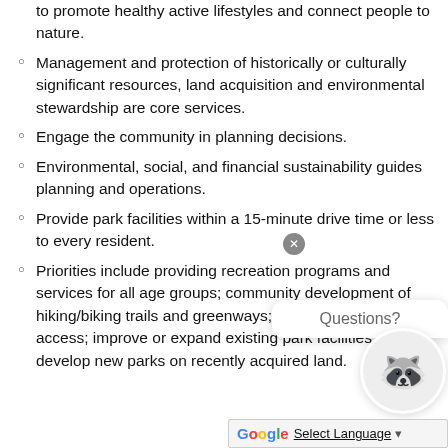to promote healthy active lifestyles and connect people to nature.
Management and protection of historically or culturally significant resources, land acquisition and environmental stewardship are core services.
Engage the community in planning decisions.
Environmental, social, and financial sustainability guides planning and operations.
Provide park facilities within a 15-minute drive time or less to every resident.
Priorities include providing recreation programs and services for all age groups; community development of hiking/biking trails and greenways; more water and beach access; improve or expand existing park facilities; and develop new parks on recently acquired land.